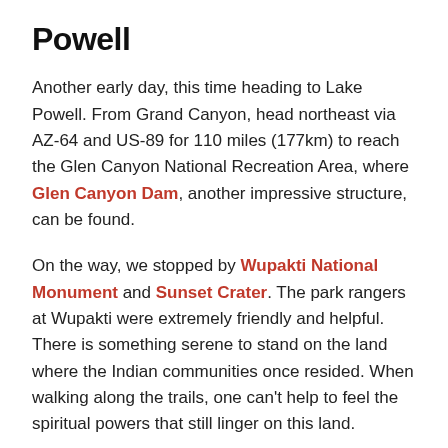Powell
Another early day, this time heading to Lake Powell. From Grand Canyon, head northeast via AZ-64 and US-89 for 110 miles (177km) to reach the Glen Canyon National Recreation Area, where Glen Canyon Dam, another impressive structure, can be found.
On the way, we stopped by Wupakti National Monument and Sunset Crater. The park rangers at Wupakti were extremely friendly and helpful. There is something serene to stand on the land where the Indian communities once resided. When walking along the trails, one can't help to feel the spiritual powers that still linger on this land.